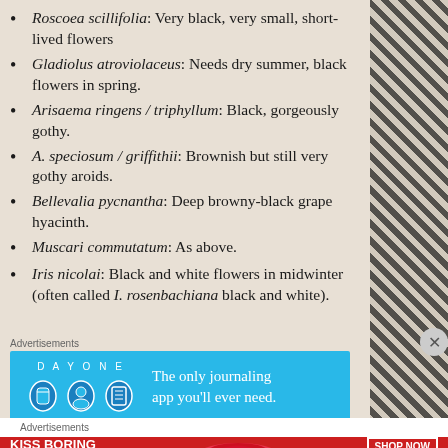Roscoea scillifolia: Very black, very small, short-lived flowers
Gladiolus atroviolaceus: Needs dry summer, black flowers in spring.
Arisaema ringens / triphyllum: Black, gorgeously gothy.
A. speciosum / griffithii: Brownish but still very gothy aroids.
Bellevalia pycnantha: Deep browny-black grape hyacinth.
Muscari commutatum: As above.
Iris nicolai: Black and white flowers in midwinter (often called I. rosenbachiana black and white).
Advertisements
[Figure (screenshot): DAY ONE journaling app advertisement banner — blue background with 'DAY ONE' text and icons on left, 'The only journaling app you'll ever need.' on right]
Advertisements
[Figure (screenshot): Macy's advertisement banner — red background with 'KISS BORING LIPS GOODBYE' text, woman's face, and 'SHOP NOW' button with Macy's star logo]